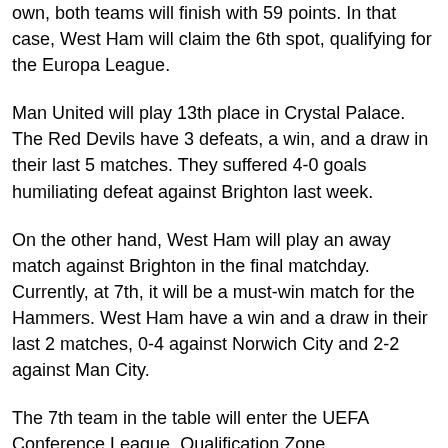own, both teams will finish with 59 points. In that case, West Ham will claim the 6th spot, qualifying for the Europa League.
Man United will play 13th place in Crystal Palace. The Red Devils have 3 defeats, a win, and a draw in their last 5 matches. They suffered 4-0 goals humiliating defeat against Brighton last week.
On the other hand, West Ham will play an away match against Brighton in the final matchday. Currently, at 7th, it will be a must-win match for the Hammers. West Ham have a win and a draw in their last 2 matches, 0-4 against Norwich City and 2-2 against Man City.
The 7th team in the table will enter the UEFA Conference League, Qualification Zone.